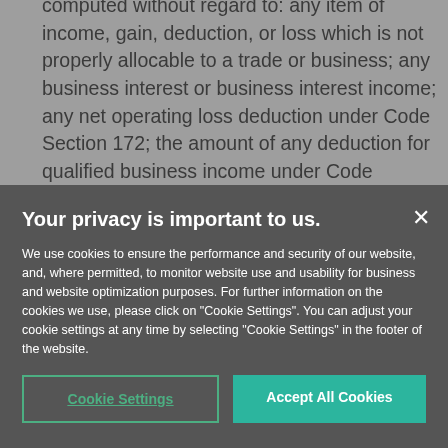computed without regard to: any item of income, gain, deduction, or loss which is not properly allocable to a trade or business; any business interest or business interest income; any net operating loss deduction under Code Section 172; the amount of any deduction for qualified business income under Code Section 199A; and in the case of taxable years beginning before January 1, 2022, any
Your privacy is important to us.
We use cookies to ensure the performance and security of our website, and, where permitted, to monitor website use and usability for business and website optimization purposes. For further information on the cookies we use, please click on "Cookie Settings". You can adjust your cookie settings at any time by selecting "Cookie Settings" in the footer of the website.
Cookie Settings
Accept All Cookies